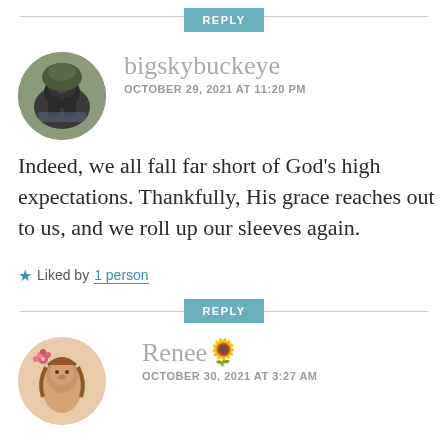REPLY
bigskybuckeye
OCTOBER 29, 2021 AT 11:20 PM
Indeed, we all fall far short of God’s high expectations. Thankfully, His grace reaches out to us, and we roll up our sleeves again.
★ Liked by 1 person
REPLY
Renee🌻
OCTOBER 30, 2021 AT 3:27 AM